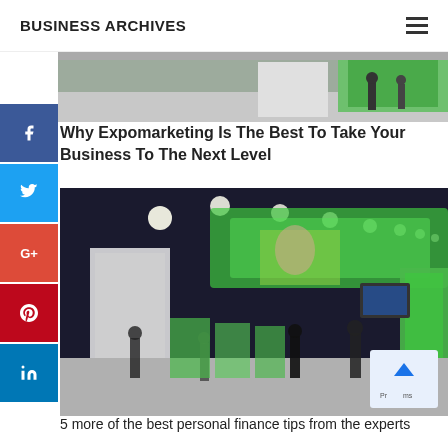BUSINESS ARCHIVES
[Figure (photo): Blurred trade show or exhibition hall with green booths, partial top crop]
Why Expomarketing Is The Best To Take Your Business To The Next Level
[Figure (photo): Trade show / expo hall interior with bright green illuminated booths, spotlights on ceiling, and visitors walking the floor]
5 more of the best personal finance tips from the experts